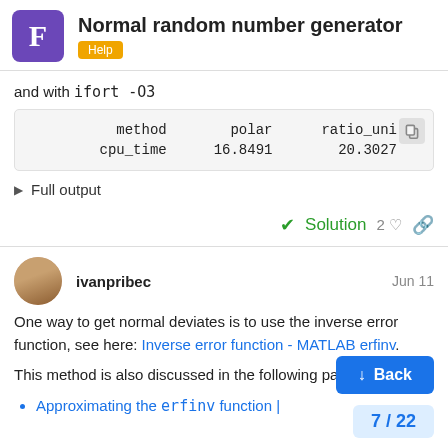Normal random number generator — Help
and with ifort -O3
| method | polar | ratio_uni |
| --- | --- | --- |
| cpu_time | 16.8491 | 20.3027 |
▶ Full output
✓ Solution  2
ivanpribec  Jun 11
One way to get normal deviates is to use the inverse error function, see here: Inverse error function - MATLAB erfinv.
This method is also discussed in the following paper:
Approximating the erfinv function |